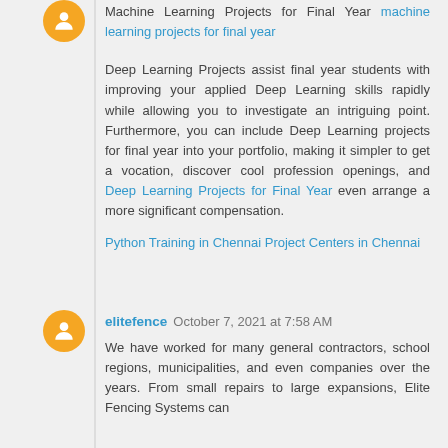Machine Learning Projects for Final Year machine learning projects for final year
Deep Learning Projects assist final year students with improving your applied Deep Learning skills rapidly while allowing you to investigate an intriguing point. Furthermore, you can include Deep Learning projects for final year into your portfolio, making it simpler to get a vocation, discover cool profession openings, and Deep Learning Projects for Final Year even arrange a more significant compensation.
Python Training in Chennai Project Centers in Chennai
elitefence October 7, 2021 at 7:58 AM
We have worked for many general contractors, school regions, municipalities, and even companies over the years. From small repairs to large expansions, Elite Fencing Systems can